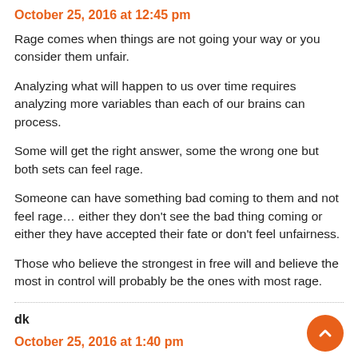October 25, 2016 at 12:45 pm
Rage comes when things are not going your way or you consider them unfair.
Analyzing what will happen to us over time requires analyzing more variables than each of our brains can process.
Some will get the right answer, some the wrong one but both sets can feel rage.
Someone can have something bad coming to them and not feel rage… either they don't see the bad thing coming or either they have accepted their fate or don't feel unfairness.
Those who believe the strongest in free will and believe the most in control will probably be the ones with most rage.
dk
October 25, 2016 at 1:40 pm
Interesting! The software seems to be analysing muscle groups as well as cadences of their